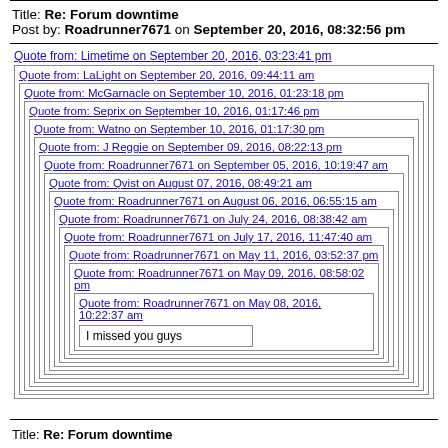Title: Re: Forum downtime
Post by: Roadrunner7671 on September 20, 2016, 08:32:56 pm
Quote from: Limetime on September 20, 2016, 03:23:41 pm
Quote from: LaLight on September 20, 2016, 09:44:11 am
Quote from: McGarnacle on September 10, 2016, 01:23:18 pm
Quote from: Seprix on September 10, 2016, 01:17:46 pm
Quote from: Watno on September 10, 2016, 01:17:30 pm
Quote from: J Reggie on September 09, 2016, 08:22:13 pm
Quote from: Roadrunner7671 on September 05, 2016, 10:19:47 am
Quote from: Qvist on August 07, 2016, 08:49:21 am
Quote from: Roadrunner7671 on August 06, 2016, 06:55:15 am
Quote from: Roadrunner7671 on July 24, 2016, 08:38:42 am
Quote from: Roadrunner7671 on July 17, 2016, 11:47:40 am
Quote from: Roadrunner7671 on May 11, 2016, 03:52:37 pm
Quote from: Roadrunner7671 on May 09, 2016, 08:58:02 pm
Quote from: Roadrunner7671 on May 08, 2016, 10:22:37 am
I missed you guys
Title: Re: Forum downtime